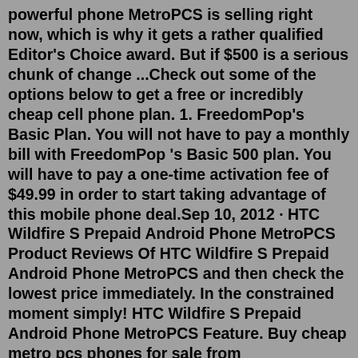powerful phone MetroPCS is selling right now, which is why it gets a rather qualified Editor's Choice award. But if $500 is a serious chunk of change ...Check out some of the options below to get a free or incredibly cheap cell phone plan. 1. FreedomPop's Basic Plan. You will not have to pay a monthly bill with FreedomPop 's Basic 500 plan. You will have to pay a one-time activation fee of $49.99 in order to start taking advantage of this mobile phone deal.Sep 10, 2012 · HTC Wildfire S Prepaid Android Phone MetroPCS Product Reviews Of HTC Wildfire S Prepaid Android Phone MetroPCS and then check the lowest price immediately. In the constrained moment simply! HTC Wildfire S Prepaid Android Phone MetroPCS Feature. Buy cheap metro pcs phones for sale from AMAZON.COM. New Blue OnePlus Nord N200 5G 64GB (Metro-PCS) Quantum Blue 6.49" Prepaid Phone (5) $124.99 Free shipping 53 sold Samsung Galaxy A52 - 128GB (GSM UNLOCKED) 4G LTE 6.5" Dual Sim T-Mobile MetroPcs (2) $265.99 Free shipping 149 sold